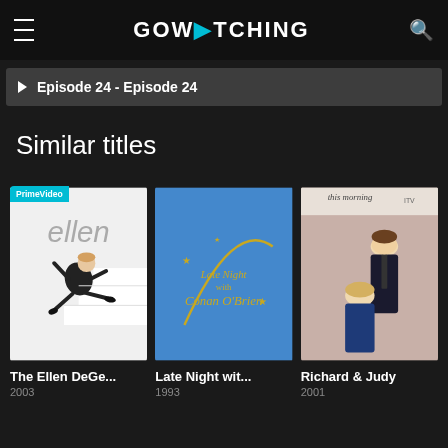GOWATCHING
Episode 24 - Episode 24
Similar titles
[Figure (photo): The Ellen DeGeneres Show thumbnail with Prime Video badge, showing Ellen in black suit jumping on white steps]
The Ellen DeGe...
2003
[Figure (photo): Late Night with Conan O'Brien show thumbnail, blue background with yellow curved text logo]
Late Night wit...
1993
[Figure (photo): Richard & Judy show thumbnail showing two hosts, man standing behind woman seated, ITV This Morning logo visible]
Richard & Judy
2001